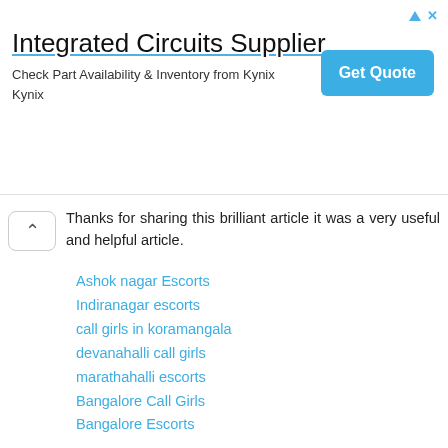[Figure (other): Advertisement banner for Integrated Circuits Supplier (Kynix) with a Get Quote button]
Thanks for sharing this brilliant article it was a very useful and helpful article.
Ashok nagar Escorts
Indiranagar escorts
call girls in koramangala
devanahalli call girls
marathahalli escorts
Bangalore Call Girls
Bangalore Escorts
Reply
Jery Fox  March 25, 2021 at 7:50 PM
lroids.com
Information
Click Here